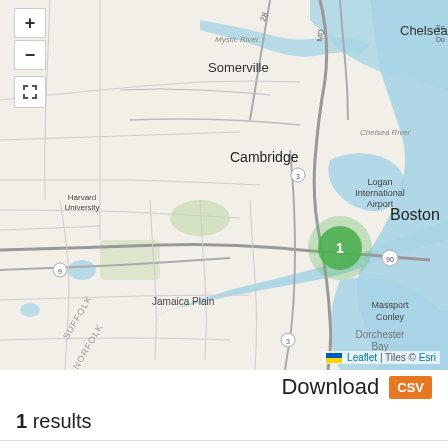[Figure (map): Interactive map centered on Boston, MA area showing Somerville, Cambridge, Harvard University, Chelsea, Logan International Airport, Jamaica Plain, Massport Conley, Dorchester Bay. A green cluster marker labeled '1' is displayed over downtown Boston. Map includes zoom controls (+/-) and fullscreen button. Leaflet | Tiles © Esri attribution shown at bottom right.]
Download  CSV
1 results